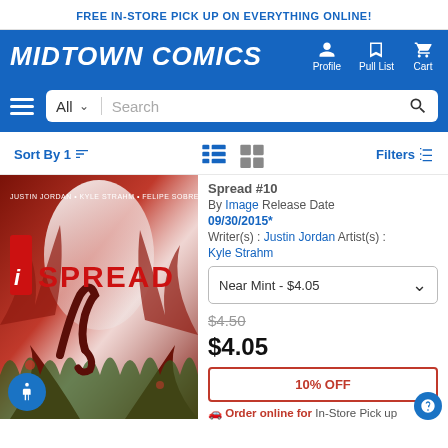FREE IN-STORE PICK UP ON EVERYTHING ONLINE!
[Figure (logo): Midtown Comics logo in white italic bold text on blue background with Profile, Pull List, Cart icons]
[Figure (screenshot): Search bar with All dropdown and Search placeholder on blue background with hamburger menu]
Sort By 1
Filters
[Figure (illustration): Spread #10 comic book cover with red tentacle monster imagery, JUSTIN JORDAN, KYLE STRAHM, FELIPE SOBREIRO credits]
Spread #10
By Image Release Date 09/30/2015*
Writer(s) : Justin Jordan Artist(s) : Kyle Strahm
Near Mint - $4.05
$4.50
$4.05
10% OFF
Order online for In-Store Pick up